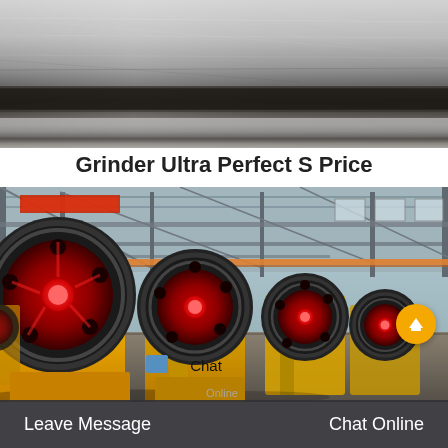[Figure (photo): Close-up photo of a metal surface or blade, showing a dark steel bar against a brushed metallic background.]
Grinder Ultra Perfect S Price
[Figure (photo): Industrial photo of a row of large yellow jaw crushers with red and black flywheels lined up in a manufacturing warehouse/shed. Overhead crane and steel structure visible in background.]
Leave Message   Chat Online